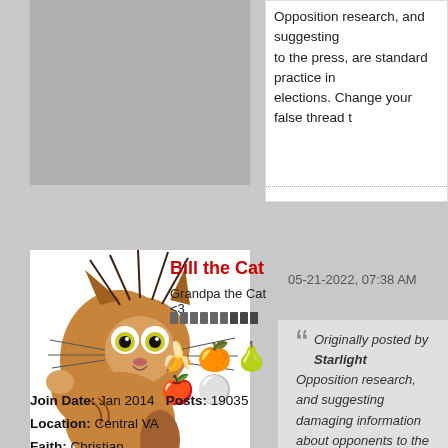Opposition research, and suggesting damaging information about opponents to the press, are standard practice in elections. Change your false thread t
[Figure (illustration): Cartoon illustration of 'Bill the Cat' — a scraggly, wild-eyed orange and brown cartoon cat character, sitting in a disheveled pose.]
Bill the Cat
Grandpa the Cat <3
Join Date: Jan 2014   Posts: 19035
Location: Central VA
Faith: Christian
Gender: Male
Amens Received: 964
Amens Given: 622
05-21-2022, 07:38 AM
Originally posted by Starlight
Opposition research, and suggesting damaging information about opponents to the press, are standard practice in not "rigging" elections. Chang